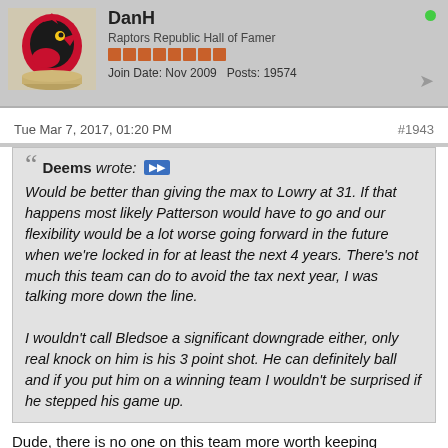DanH — Raptors Republic Hall of Famer — Join Date: Nov 2009  Posts: 19574
Tue Mar 7, 2017, 01:20 PM  #1943
Deems wrote: Would be better than giving the max to Lowry at 31. If that happens most likely Patterson would have to go and our flexibility would be a lot worse going forward in the future when we're locked in for at least the next 4 years. There's not much this team can do to avoid the tax next year, I was talking more down the line.

I wouldn't call Bledsoe a significant downgrade either, only real knock on him is his 3 point shot. He can definitely ball and if you put him on a winning team I wouldn't be surprised if he stepped his game up.
Dude, there is no one on this team more worth keeping